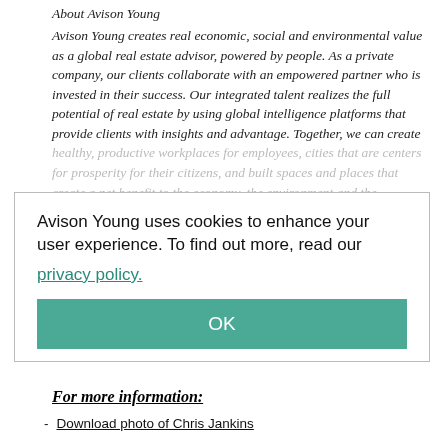About Avison Young
Avison Young creates real economic, social and environmental value as a global real estate advisor, powered by people. As a private company, our clients collaborate with an empowered partner who is invested in their success. Our integrated talent realizes the full potential of real estate by using global intelligence platforms that provide clients with insights and advantage. Together, we can create healthy, productive workplaces for employees, cities that are centers for prosperity for their citizens, and built spaces and places that create a net benefit to the economy, the environment and the community.
Avison Young is a 2022 winner of the Canada's Best Managed Companies Platinum Club designation, having retained its Best Managed designation for 11 consecutive years.
Avison Young uses cookies to enhance your user experience. To find out more, read our privacy policy.
OK
For more information:
Download photo of Chris Jankins